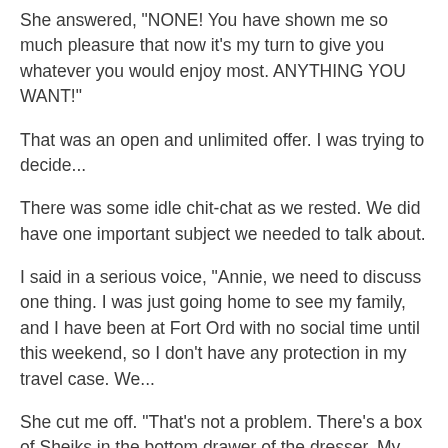She answered, "NONE! You have shown me so much pleasure that now it's my turn to give you whatever you would enjoy most. ANYTHING YOU WANT!"
That was an open and unlimited offer. I was trying to decide...
There was some idle chit-chat as we rested. We did have one important subject we needed to talk about.
I said in a serious voice, "Annie, we need to discuss one thing. I was just going home to see my family, and I have been at Fort Ord with no social time until this weekend, so I don't have any protection in my travel case. We...
She cut me off. "That's not a problem. There's a box of Sheiks in the bottom drawer of the dresser. My husband and I don't want to have kids for a few years.